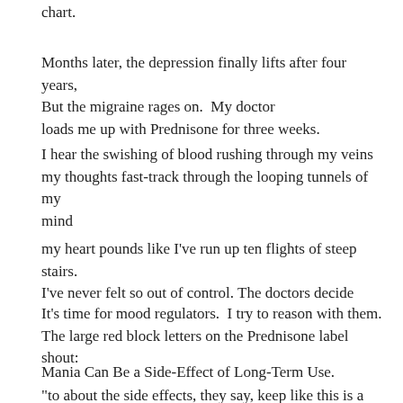chart.
Months later, the depression finally lifts after four years,
But the migraine rages on.  My doctor
loads me up with Prednisone for three weeks.
I hear the swishing of blood rushing through my veins
my thoughts fast-track through the looping tunnels of my mind
my heart pounds like I've run up ten flights of steep stairs.
I've never felt so out of control. The doctors decide
It's time for mood regulators.  I try to reason with them.
The large red block letters on the Prednisone label shout:
Mania Can Be a Side-Effect of Long-Term Use.
"to about the side effects, they say, keep like this is a reaction